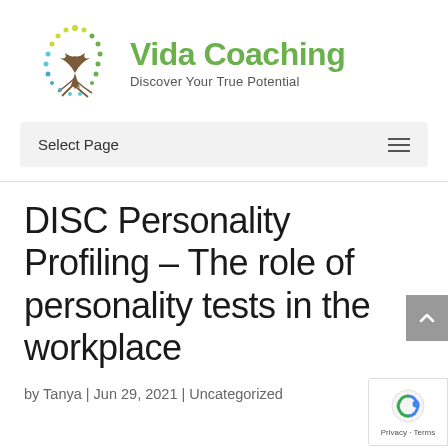[Figure (logo): Vida Coaching logo: tree illustration with green and yellow dots forming a circle, brown roots, with text 'Vida Coaching' in green and 'Discover Your True Potential' below]
Select Page
DISC Personality Profiling – The role of personality tests in the workplace
by Tanya | Jun 29, 2021 | Uncategorized